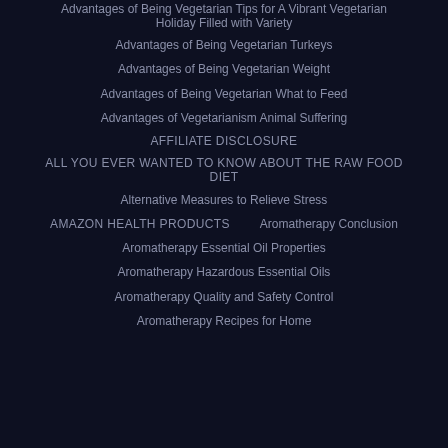Advantages of Being Vegetarian Tips for A Vibrant Vegetarian Holiday Filled with Variety
Advantages of Being Vegetarian Turkeys
Advantages of Being Vegetarian Weight
Advantages of Being Vegetarian What to Feed
Advantages of Vegetarianism Animal Suffering
AFFILIATE DISCLOSURE
ALL YOU EVER WANTED TO KNOW ABOUT THE RAW FOOD DIET
Alternative Measures to Relieve Stress
AMAZON HEALTH PRODUCTS
Aromatherapy Conclusion
Aromatherapy Essential Oil Properties
Aromatherapy Hazardous Essential Oils
Aromatherapy Quality and Safety Control
Aromatherapy Recipes for Home